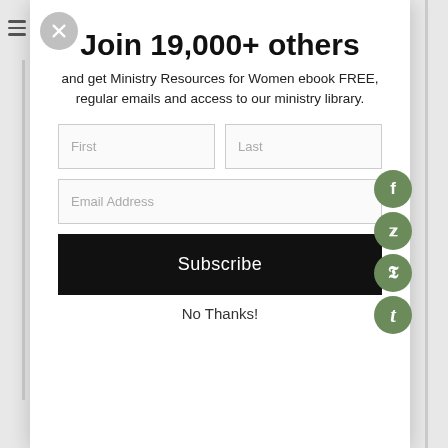Join 19,000+ others
and get Ministry Resources for Women ebook FREE, regular emails and access to our ministry library.
[Figure (other): Email subscription form with First, Last, Email Address input fields and a Subscribe button]
No Thanks!